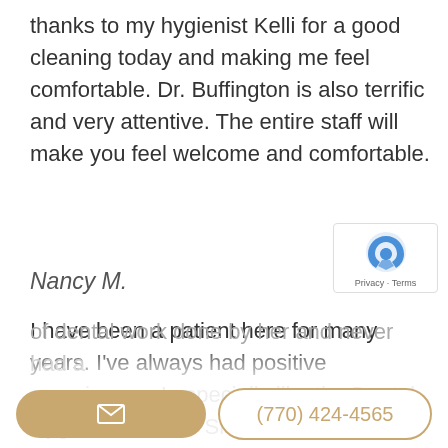thanks to my hygienist Kelli for a good cleaning today and making me feel comfortable. Dr. Buffington is also terrific and very attentive. The entire staff will make you feel welcome and comfortable.
Nancy M.
I have been a patient here for many years. I've always had positive experiences. I especially like the Dental Hygenist "Callie". She is just the best, always smiling and cheerful, just what you ne the Dentist. She is very experienced and I've learned a lot from her. All the Staff is very nice and of dental work done by her and never had a